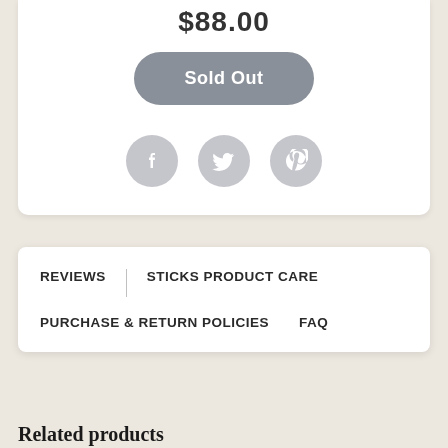$88.00
Sold Out
[Figure (illustration): Three social media icons: Facebook, Twitter, and Pinterest, rendered as gray circles with white logos]
REVIEWS
STICKS PRODUCT CARE
PURCHASE & RETURN POLICIES
FAQ
Related products